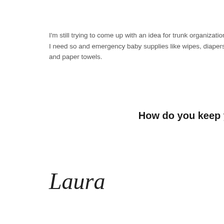I'm still trying to come up with an idea for trunk organization. I need so and emergency baby supplies like wipes, diapers and paper towels.
How do you keep y
[Figure (illustration): Cursive handwritten signature reading 'Laura' in black script font]
[Figure (infographic): Three social sharing buttons: green share button, dark blue Facebook button with 'f' logo, and light blue Twitter button with bird logo]
Posted at 11:54 AM
thursday, au
It's OK T